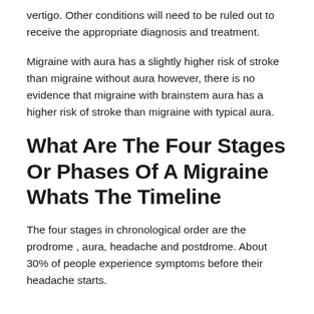vertigo. Other conditions will need to be ruled out to receive the appropriate diagnosis and treatment.
Migraine with aura has a slightly higher risk of stroke than migraine without aura however, there is no evidence that migraine with brainstem aura has a higher risk of stroke than migraine with typical aura.
What Are The Four Stages Or Phases Of A Migraine Whats The Timeline
The four stages in chronological order are the prodrome , aura, headache and postdrome. About 30% of people experience symptoms before their headache starts.